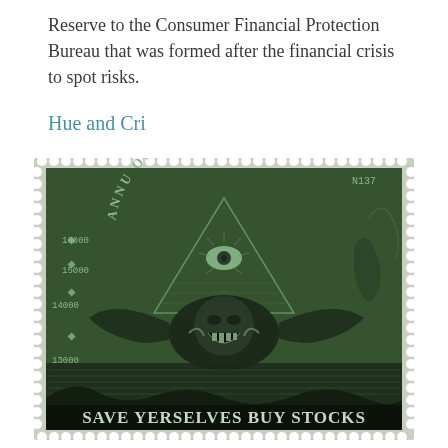Reserve to the Consumer Financial Protection Bureau that was formed after the financial crisis to spot risks.
Hue and Cri
[Figure (illustration): A postage-stamp style illustration in dark green engraving style depicting a grotesque bat-like creature with a screaming face, set against the all-seeing eye pyramid and stock market numbers (16000, 15000, 14000, 13000). The stamp bears the text 'SAVE YERSELVES BUY STOCKS' at the bottom in bold serif lettering. Stamp number N137 visible in upper right corner.]